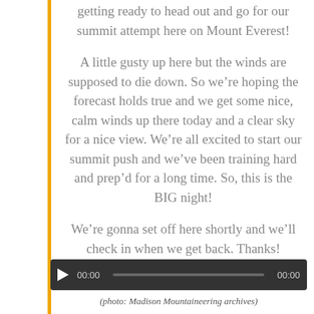getting ready to head out and go for our summit attempt here on Mount Everest!
A little gusty up here but the winds are supposed to die down.  So we’re hoping the forecast holds true and we get some nice, calm winds up there today and a clear sky for a nice view.  We’re all excited to start our summit push and we’ve been training hard and prep’d for a long time.  So, this is the BIG night!
We’re gonna set off here shortly and we’ll check in when we get back.  Thanks!
[Figure (other): Audio player with play button, time display 00:00 and 00:00, and progress bar]
(photo: Madison Mountaineering archives)